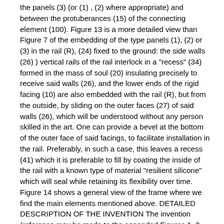the panels (3) (or (1) , (2) where appropriate) and between the protuberances (15) of the connecting element (100). Figure 13 is a more detailed view than Figure 7 of the embedding of the type panels (1), (2) or (3) in the rail (R), (24) fixed to the ground: the side walls (26) ) vertical rails of the rail interlock in a "recess" (34) formed in the mass of soul (20) insulating precisely to receive said walls (26), and the lower ends of the rigid facing (10) are also embedded with the rail (R), but from the outside, by sliding on the outer faces (27) of said walls (26), which will be understood without any person skilled in the art. One can provide a bevel at the bottom of the outer face of said facings, to facilitate installation in the rail. Preferably, in such a case, this leaves a recess (41) which it is preferable to fill by coating the inside of the rail with a known type of material "resilient silicone" which will seal while retaining its flexibility over time. Figure 14 shows a general view of the frame where we find the main elements mentioned above. DETAILED DESCRIPTION OF THE INVENTION The invention (reference may be made to the appended Figures 1, 2, 3, 4 and 9 in particular) resides in a new connecting element 100 between two composite-type panels (1) and (2), ), or of type (1) or (2) and angle-